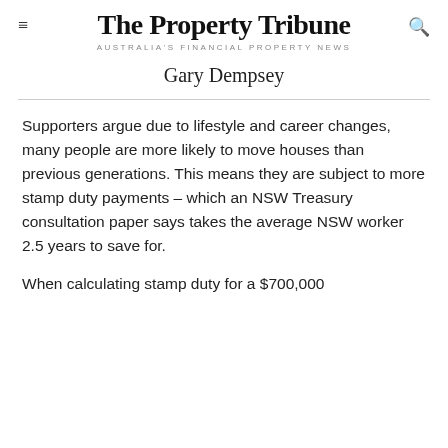The Property Tribune
AUSTRALIA'S FINANCIAL PROPERTY NEWS
Gary Dempsey
Supporters argue due to lifestyle and career changes, many people are more likely to move houses than previous generations. This means they are subject to more stamp duty payments – which an NSW Treasury consultation paper says takes the average NSW worker 2.5 years to save for.
When calculating stamp duty for a $700,000